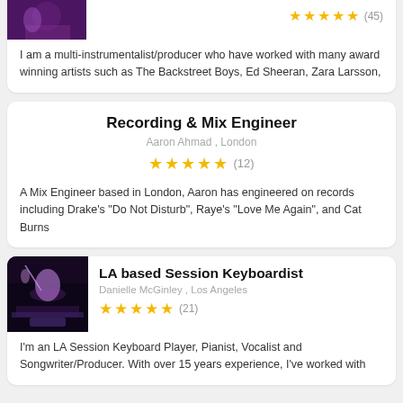[Figure (photo): Partial card top showing a musician photo with purple/pink stage lighting and star ratings (45 reviews) visible]
I am a multi-instrumentalist/producer who have worked with many award winning artists such as The Backstreet Boys, Ed Sheeran, Zara Larsson,
Recording & Mix Engineer
Aaron Ahmad , London
★★★★★ (12)
A Mix Engineer based in London, Aaron has engineered on records including Drake's "Do Not Disturb", Raye's "Love Me Again", and Cat Burns
[Figure (photo): Photo of a female keyboardist performing on stage with purple lighting, microphone visible]
LA based Session Keyboardist
Danielle McGinley , Los Angeles
★★★★★ (21)
I'm an LA Session Keyboard Player, Pianist, Vocalist and Songwriter/Producer. With over 15 years experience, I've worked with